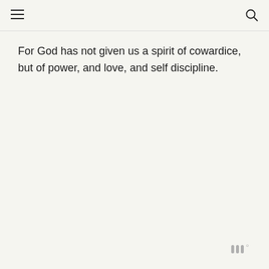For God has not given us a spirit of cowardice, but of power, and love, and self discipline.
[Figure (logo): Watermark logo in bottom right corner showing stylized 'W' or 'III' letters with a degree symbol]